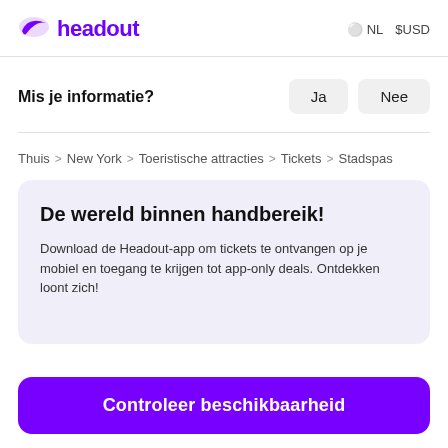headout   NL  $USD
Mis je informatie?
Thuis > New York > Toeristische attracties > Tickets > Stadspas
De wereld binnen handbereik!
Download de Headout-app om tickets te ontvangen op je mobiel en toegang te krijgen tot app-only deals. Ontdekken loont zich!
Controleer beschikbaarheid